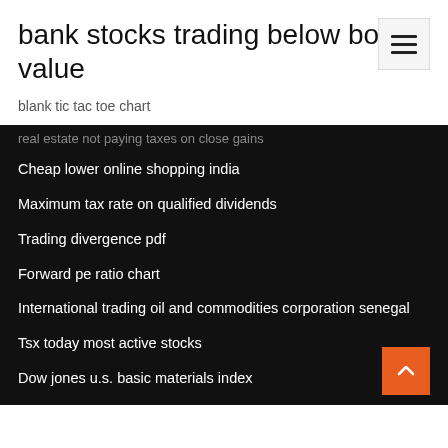bank stocks trading below book value
blank tic tac toe chart
real estate not paying taxes on close gains
Cheap lower online shopping india
Maximum tax rate on qualified dividends
Trading divergence pdf
Forward pe ratio chart
International trading oil and commodities corporation senegal
Tsx today most active stocks
Dow jones u.s. basic materials index
4108